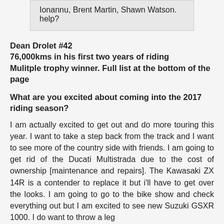Ionannu, Brent Martin, Shawn Watson. help?
Dean Drolet #42
76,000kms in his first two years of riding
Mulitple trophy winner. Full list at the bottom of the page
What are you excited about coming into the 2017 riding season?
I am actually excited to get out and do more touring this year. I want to take a step back from the track and I want to see more of the country side with friends. I am going to get rid of the Ducati Multistrada due to the cost of ownership [maintenance and repairs]. The Kawasaki ZX 14R is a contender to replace it but i'll have to get over the looks. I am going to go to the bike show and check everything out but I am excited to see new Suzuki GSXR 1000. I do want to throw a leg